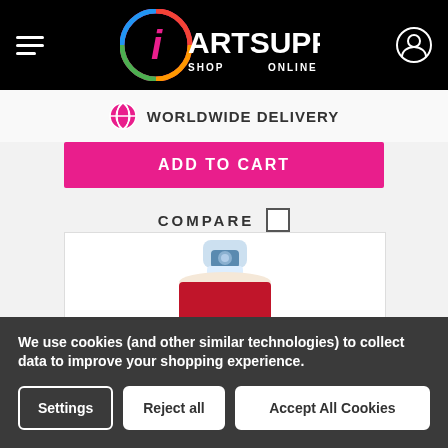iARTSUPPLIES SHOP ONLINE
WORLDWIDE DELIVERY
ADD TO CART
COMPARE
[Figure (photo): Red Amsterdam spray paint can with blue cap on white background]
We use cookies (and other similar technologies) to collect data to improve your shopping experience.
Settings | Reject all | Accept All Cookies